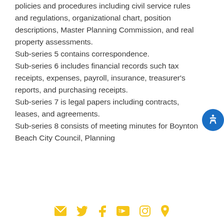policies and procedures including civil service rules and regulations, organizational chart, position descriptions, Master Planning Commission, and real property assessments. Sub-series 5 contains correspondence. Sub-series 6 includes financial records such tax receipts, expenses, payroll, insurance, treasurer's reports, and purchasing receipts. Sub-series 7 is legal papers including contracts, leases, and agreements. Sub-series 8 consists of meeting minutes for Boynton Beach City Council, Planning...
Social icons: email, twitter, facebook, youtube, instagram, location